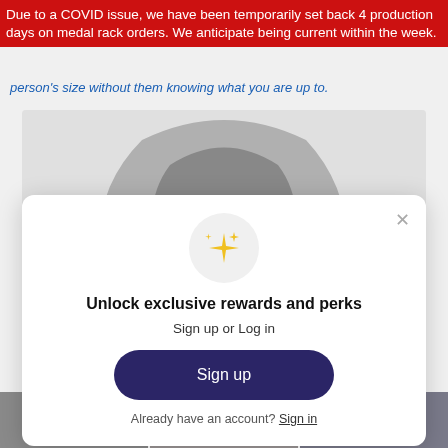Due to a COVID issue, we have been temporarily set back 4 production days on medal rack orders. We anticipate being current within the week.
person's size without them knowing what you are up to.
[Figure (photo): Black and white photo of a hoodie sweatshirt showing the hood area]
[Figure (screenshot): Modal popup with sparkle emoji icon, title 'Unlock exclusive rewards and perks', subtitle 'Sign up or Log in', a dark navy 'Sign up' button, and 'Already have an account? Sign in' link]
[Figure (photo): Three small thumbnail images at the bottom of the page]